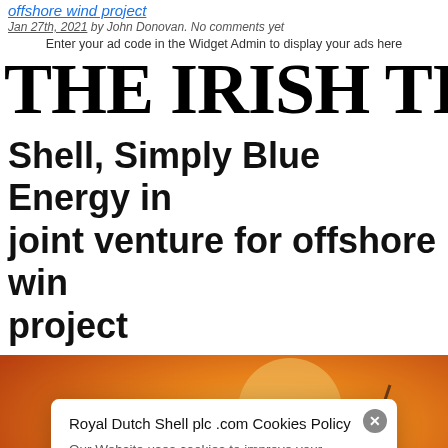offshore wind project
Jan 27th, 2021 by John Donovan. No comments yet
Enter your ad code in the Widget Admin to display your ads here
[Figure (logo): The Irish Times masthead logo in large bold serif font]
Shell, Simply Blue Energy in joint venture for offshore wind project
[Figure (photo): Orange/sunset background image with wind turbine silhouette, overlaid with a cookie consent modal dialog from Royal Dutch Shell plc .com]
Royal Dutch Shell plc .com Cookies Policy
Our Website uses cookies to improve your experience. Please visit our Privacy page for more information about cookies and how we use them.